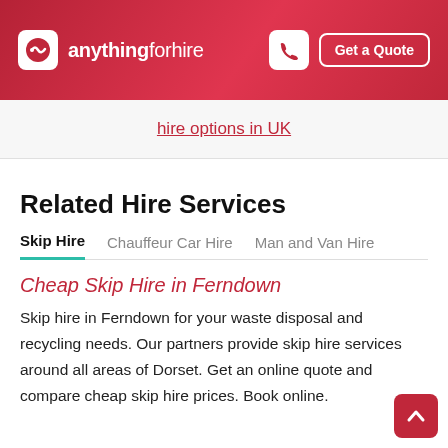anythingforhire — Get a Quote
hire options in UK
Related Hire Services
Skip Hire   Chauffeur Car Hire   Man and Van Hire
Cheap Skip Hire in Ferndown
Skip hire in Ferndown for your waste disposal and recycling needs. Our partners provide skip hire services around all areas of Dorset. Get an online quote and compare cheap skip hire prices. Book online.